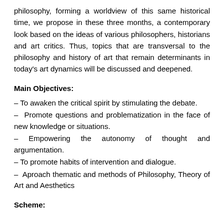philosophy, forming a worldview of this same historical time, we propose in these three months, a contemporary look based on the ideas of various philosophers, historians and art critics. Thus, topics that are transversal to the philosophy and history of art that remain determinants in today's art dynamics will be discussed and deepened.
Main Objectives:
– To awaken the critical spirit by stimulating the debate.
– Promote questions and problematization in the face of new knowledge or situations.
– Empowering the autonomy of thought and argumentation.
– To promote habits of intervention and dialogue.
– Aproach thematic and methods of Philosophy, Theory of Art and Aesthetics
Scheme: